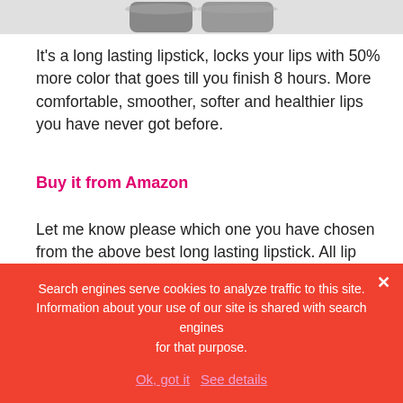[Figure (photo): Partial product image of lipstick at top of page, cropped]
It's a long lasting lipstick, locks your lips with 50% more color that goes till you finish 8 hours. More comfortable, smoother, softer and healthier lips you have never got before.
Buy it from Amazon
Let me know please which one you have chosen from the above best long lasting lipstick. All lip colors are stylish, fashionable and trending this year. Capable of meeting your pout newer style.
Search engines serve cookies to analyze traffic to this site. Information about your use of our site is shared with search engines for that purpose.
Ok, got it  See details